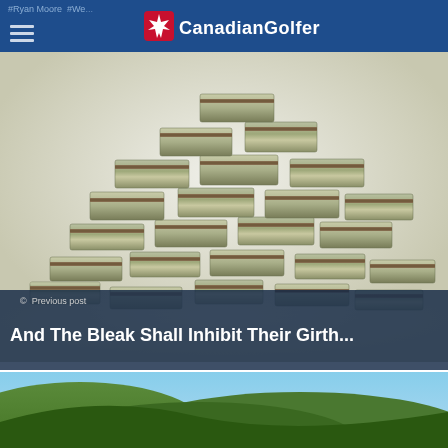#Ryan Moore #We... | CanadianGolfer
[Figure (photo): Large pile of stacked US dollar bill bundles forming a mound]
© Previous post
And The Bleak Shall Inhibit Their Girth...
[Figure (photo): Scenic green hills and landscape photo at bottom of page]